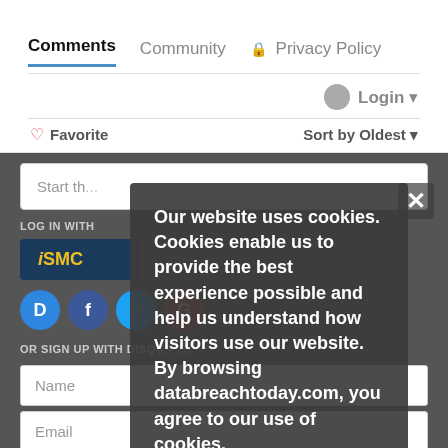Comments  Community  🔒 Privacy Policy
Login ▾
♡ Favorite    Sort by Oldest ▾
Start th...
LOG IN WITH
[Figure (screenshot): iSMC login button in dark blue with gold text]
[Figure (screenshot): Social login icons: Disqus (D), Facebook (f), Twitter (bird), Google (G)]
OR SIGN UP WITH DISQUS ⓘ
Name
Email
Our website uses cookies. Cookies enable us to provide the best experience possible and help us understand how visitors use our website. By browsing databreachtoday.com, you agree to our use of cookies.